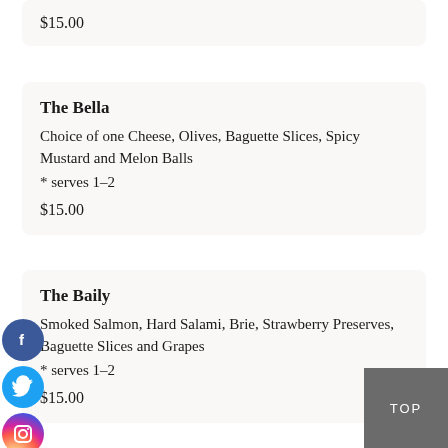$15.00
The Bella
Choice of one Cheese, Olives, Baguette Slices, Spicy Mustard and Melon Balls
* serves 1-2
$15.00
The Baily
Smoked Salmon, Hard Salami, Brie, Strawberry Preserves, Baguette Slices and Grapes
* serves 1-2
$15.00